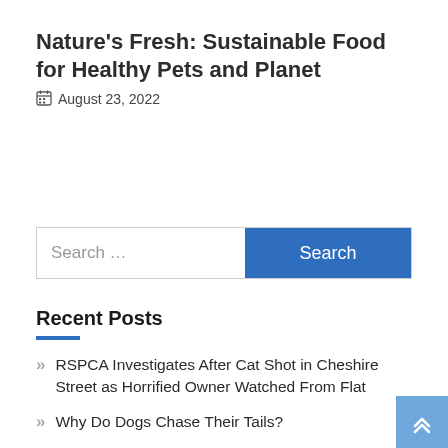Nature's Fresh: Sustainable Food for Healthy Pets and Planet
August 23, 2022
Search …
Recent Posts
RSPCA Investigates After Cat Shot in Cheshire Street as Horrified Owner Watched From Flat
Why Do Dogs Chase Their Tails?
Secrets for Socializing a Puppy, According to a Dog